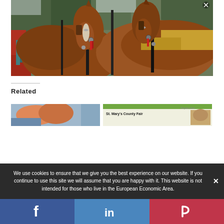[Figure (photo): Close-up photo of two brown draft horses in harness with leather bridles, blinders, and colorful red decorations. Trees and red equipment visible in background.]
Related
[Figure (photo): Thumbnail image - partial view of a colorful event photo]
[Figure (photo): Thumbnail image - St. Mary's County Fair September text visible]
We use cookies to ensure that we give you the best experience on our website. If you continue to use this site we will assume that you are happy with it. This website is not intended for those who live in the European Economic Area.
[Figure (infographic): Social sharing bar with Facebook (blue), LinkedIn (blue), and Parler (red) icons]